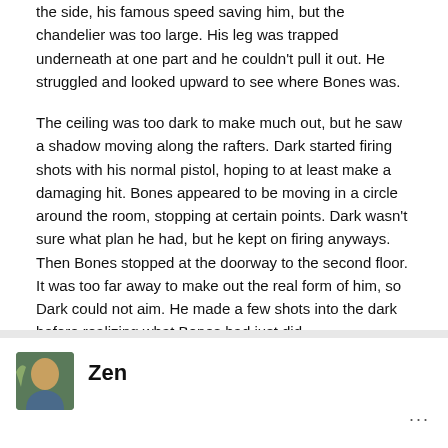the side, his famous speed saving him, but the chandelier was too large. His leg was trapped underneath at one part and he couldn't pull it out. He struggled and looked upward to see where Bones was.
The ceiling was too dark to make much out, but he saw a shadow moving along the rafters. Dark started firing shots with his normal pistol, hoping to at least make a damaging hit. Bones appeared to be moving in a circle around the room, stopping at certain points. Dark wasn't sure what plan he had, but he kept on firing anyways. Then Bones stopped at the doorway to the second floor. It was too far away to make out the real form of him, so Dark could not aim. He made a few shots into the dark before realizing what Bones had just did.
Then he hear a beep. The beep that was made when Bones activated the bombs all along the rafters and the whole ceiling came crashing down on Dark.[/size]
Zen